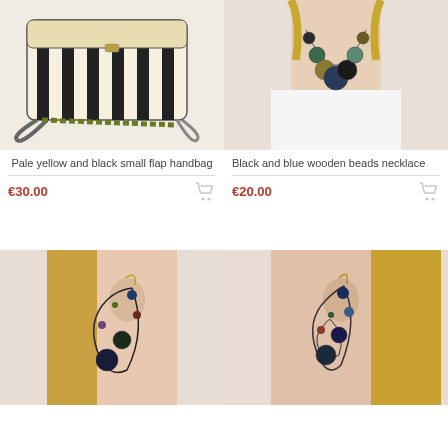[Figure (photo): Pale yellow and black small flap handbag with striped pattern and crossbody strap]
Pale yellow and black small flap handbag
€30.00
[Figure (photo): Black and blue wooden beads necklace worn by a woman]
Black and blue wooden beads necklace
€20.00
[Figure (photo): Dangle earring with dark beads and wire hoop design, worn by a woman]
[Figure (photo): Dangle earring with blue beads and wire design, worn by a woman]